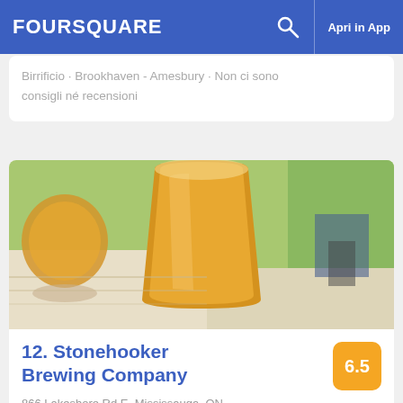FOURSQUARE  Apri in App
Birrificio · Brookhaven - Amesbury · Non ci sono consigli né recensioni
[Figure (photo): A glass of orange/amber hazy beer (IPA) on a white wooden table outdoors, with another glass and greenery visible in the background]
12. Stonehooker Brewing Company
6.5
866 Lakeshore Rd E, Mississauga, ON
Birrificio · Lakeview · 3 consigli e recensioni
Joe Preiditsch: They make some decent IPAs.